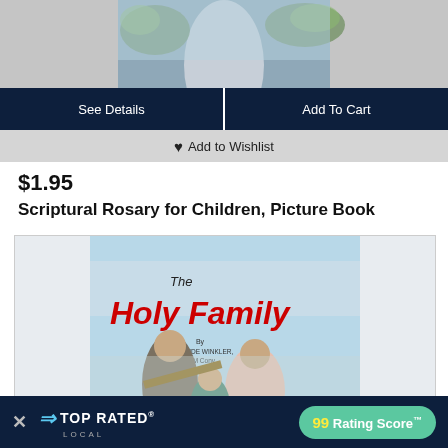[Figure (screenshot): Top portion of a book product page showing a religious book cover image (Scriptural Rosary) with blue/grey background]
See Details
Add To Cart
♥ Add to Wishlist
$1.95
Scriptural Rosary for Children, Picture Book
[Figure (photo): Book cover of 'The Holy Family' by Rev. Jude Winkler, OFM Conv., showing illustrated figures of the Holy Family]
× TOP RATED LOCAL  99 Rating Score™